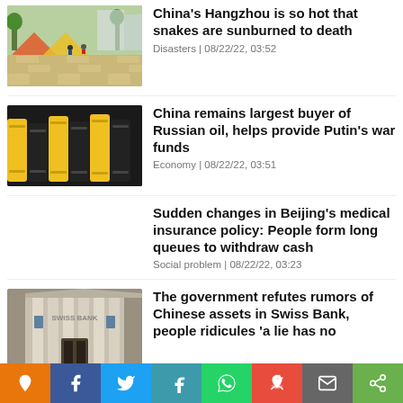[Figure (photo): Outdoor scene in Hangzhou, China — brick plaza with tents and people]
China's Hangzhou is so hot that snakes are sunburned to death
Disasters | 08/22/22, 03:52
[Figure (photo): Yellow and black oil barrels stacked in rows]
China remains largest buyer of Russian oil, helps provide Putin's war funds
Economy | 08/22/22, 03:51
Sudden changes in Beijing's medical insurance policy: People form long queues to withdraw cash
Social problem | 08/22/22, 03:23
[Figure (photo): Stone building entrance — Swiss Bank exterior]
The government refutes rumors of Chinese assets in Swiss Bank, people ridicules 'a lie has no
Social sharing bar: orange pin, Facebook, Twitter, Telegram, WhatsApp, Reddit, Mail, Share